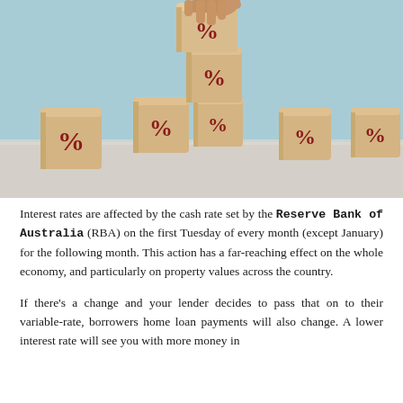[Figure (photo): A hand placing a wooden block with a % symbol on top of a staircase arrangement of wooden blocks, each displaying a % sign, against a light blue background. The blocks form a rising staircase pattern suggesting increasing interest rates.]
Interest rates are affected by the cash rate set by the Reserve Bank of Australia (RBA) on the first Tuesday of every month (except January) for the following month. This action has a far-reaching effect on the whole economy, and particularly on property values across the country.
If there's a change and your lender decides to pass that on to their variable-rate, borrowers home loan payments will also change. A lower interest rate will see you with more money in